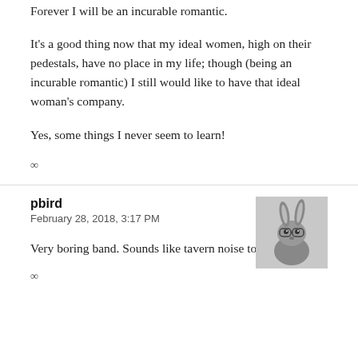Forever I will be an incurable romantic.
It's a good thing now that my ideal women, high on their pedestals, have no place in my life; though (being an incurable romantic) I still would like to have that ideal woman's company.
Yes, some things I never seem to learn!
∞
pbird
February 28, 2018, 3:17 PM
[Figure (photo): Avatar photo of a rabbit/bunny in black and white]
Very boring band. Sounds like tavern noise to me.
∞